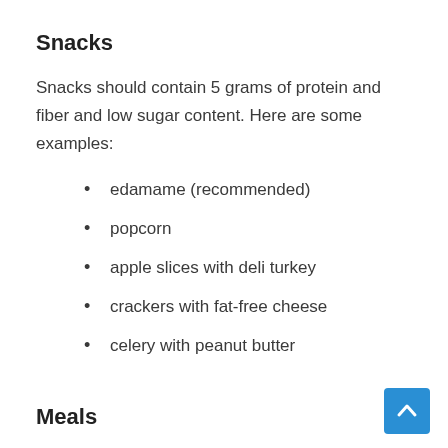Snacks
Snacks should contain 5 grams of protein and fiber and low sugar content. Here are some examples:
edamame (recommended)
popcorn
apple slices with deli turkey
crackers with fat-free cheese
celery with peanut butter
Meals